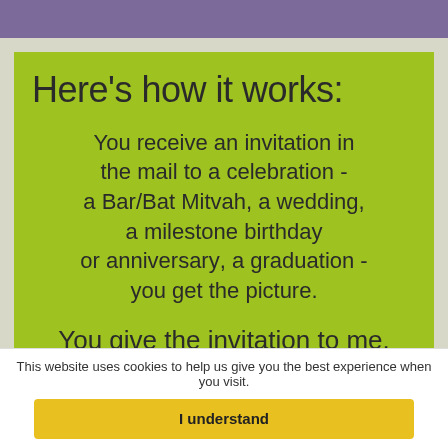Here's how it works:
You receive an invitation in the mail to a celebration - a Bar/Bat Mitvah, a wedding, a milestone birthday or anniversary, a graduation - you get the picture.
You give the invitation to me.
This website uses cookies to help us give you the best experience when you visit.
I understand